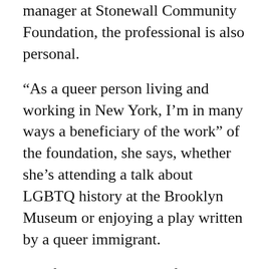manager at Stonewall Community Foundation, the professional is also personal.
“As a queer person living and working in New York, I’m in many ways a beneficiary of the work” of the foundation, she says, whether she’s attending a talk about LGBTQ history at the Brooklyn Museum or enjoying a play written by a queer immigrant.
The foundation, named for the iconic Stonewall Inn that sparked the fight for LGBTQ rights in the United States, is focused on strengthening New York City’s LGBTQ community. As program manager, Pearce oversees its grant and scholarship programs.